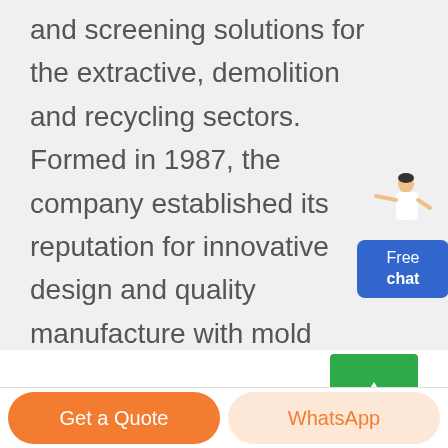and screening solutions for the extractive, demolition and recycling sectors. Formed in 1987, the company established its reputation for innovative design and quality manufacture with mold breaking 5000 Screen, a machine that was to form ...
[Figure (illustration): Chat widget with a person figure in white suit pointing and a blue rounded button labeled 'Free chat']
[Figure (illustration): Green square button with a white upward arrow]
Get a Quote
WhatsApp